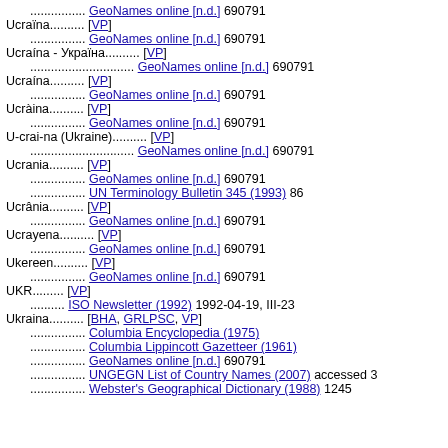.............. GeoNames online [n.d.] 690791
Ucraïna.......... [VP]
.............. GeoNames online [n.d.] 690791
Ucraína - Україна.......... [VP]
......................... GeoNames online [n.d.] 690791
Ucraína.......... [VP]
.............. GeoNames online [n.d.] 690791
Ucràina.......... [VP]
.............. GeoNames online [n.d.] 690791
U-crai-na (Ukraine).......... [VP]
......................... GeoNames online [n.d.] 690791
Ucrania.......... [VP]
.............. GeoNames online [n.d.] 690791
.............. UN Terminology Bulletin 345 (1993) 86
Ucrânia.......... [VP]
.............. GeoNames online [n.d.] 690791
Ucrayena.......... [VP]
.............. GeoNames online [n.d.] 690791
Ukereen.......... [VP]
.............. GeoNames online [n.d.] 690791
UKR.......... [VP]
.......... ISO Newsletter (1992) 1992-04-19, III-23
Ukraina.......... [BHA, GRLPSC, VP]
.............. Columbia Encyclopedia (1975)
.............. Columbia Lippincott Gazetteer (1961)
.............. GeoNames online [n.d.] 690791
.............. UNGEGN List of Country Names (2007) accessed 3
.............. Webster's Geographical Dictionary (1988) 1245